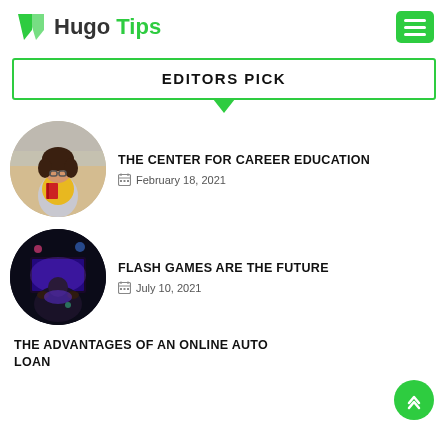Hugo Tips
EDITORS PICK
THE CENTER FOR CAREER EDUCATION
February 18, 2021
[Figure (photo): Young woman with curly hair holding a red book outdoors]
FLASH GAMES ARE THE FUTURE
July 10, 2021
[Figure (photo): Person playing video games in dark room with glowing lights]
THE ADVANTAGES OF AN ONLINE AUTO LOAN